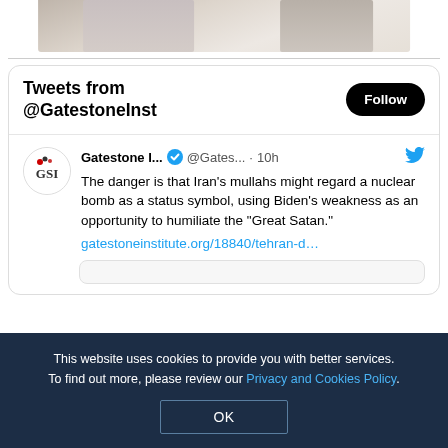[Figure (photo): Partial photo of a person at the top of the page]
Tweets from @GatestoneInst
Gatestone I... @Gates... · 10h
The danger is that Iran's mullahs might regard a nuclear bomb as a status symbol, using Biden's weakness as an opportunity to humiliate the "Great Satan."
gatestoneinstitute.org/18840/tehran-d…
This website uses cookies to provide you with better services. To find out more, please review our Privacy and Cookies Policy.
OK